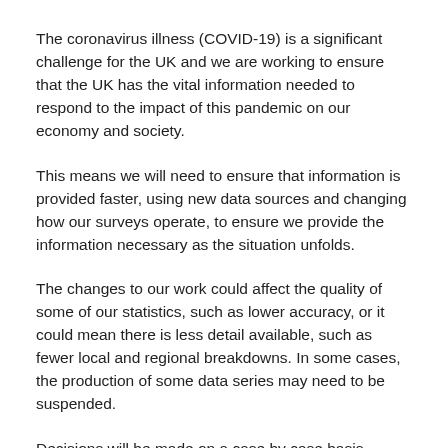The coronavirus illness (COVID-19) is a significant challenge for the UK and we are working to ensure that the UK has the vital information needed to respond to the impact of this pandemic on our economy and society.
This means we will need to ensure that information is provided faster, using new data sources and changing how our surveys operate, to ensure we provide the information necessary as the situation unfolds.
The changes to our work could affect the quality of some of our statistics, such as lower accuracy, or it could mean there is less detail available, such as fewer local and regional breakdowns. In some cases, the production of some data series may need to be suspended.
Decisions will be made on a case by case basis, taking into